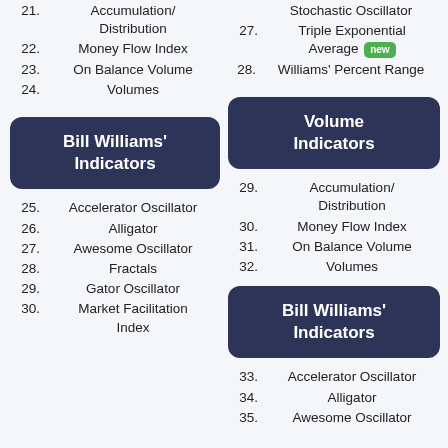21. Accumulation/Distribution
22. Money Flow Index
23. On Balance Volume
24. Volumes
Bill Williams' Indicators
25. Accelerator Oscillator
26. Alligator
27. Awesome Oscillator
28. Fractals
29. Gator Oscillator
30. Market Facilitation Index
26. Stochastic Oscillator
27. Triple Exponential Average [new]
28. Williams' Percent Range
Volume Indicators
29. Accumulation/Distribution
30. Money Flow Index
31. On Balance Volume
32. Volumes
Bill Williams' Indicators
33. Accelerator Oscillator
34. Alligator
35. Awesome Oscillator